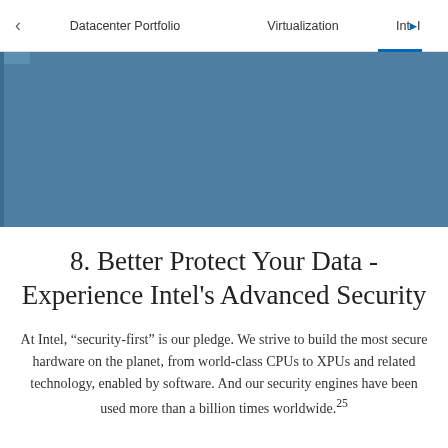Datacenter Portfolio | Virtualization | Intel i...
[Figure (other): Teal/blue-grey decorative banner band below navigation bar]
8. Better Protect Your Data - Experience Intel's Advanced Security
At Intel, “security-first” is our pledge. We strive to build the most secure hardware on the planet, from world-class CPUs to XPUs and related technology, enabled by software. And our security engines have been used more than a billion times worldwide.25